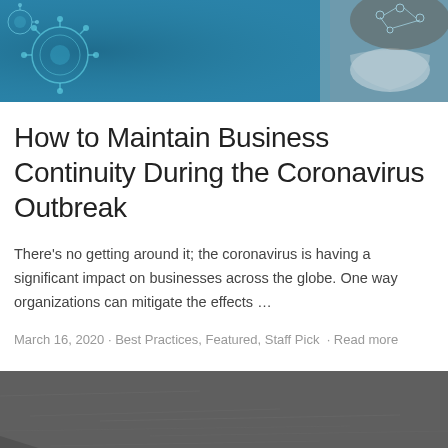[Figure (photo): Header image showing coronavirus/COVID-19 microscopic particles in teal/blue tones with a person wearing a medical mask in the background]
How to Maintain Business Continuity During the Coronavirus Outbreak
There’s no getting around it; the coronavirus is having a significant impact on businesses across the globe. One way organizations can mitigate the effects …
March 16, 2020 · Best Practices, Featured, Staff Pick · Read more
[Figure (photo): Second article header image showing a gray/dark textured surface]